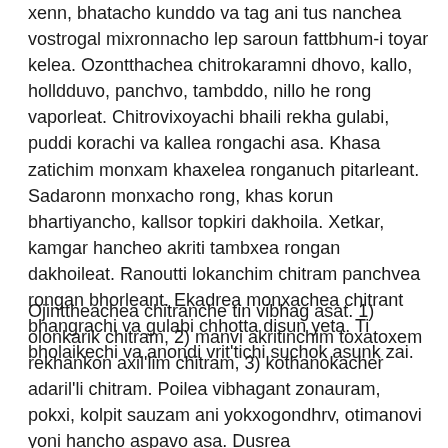xenn, bhatacho kunddo va tag ani tus nanchea vostrogal mixronnacho lep saroun fattbhum-i toyar kelea. Ozontthachea chitrokaramni dhovo, kallo, holldduvo, panchvo, tambddo, nillo he rong vaporleat. Chitrovixoyachi bhaili rekha gulabi, puddi korachi va kallea rongachi asa. Khasa zatichim monxam khaxelea ronganuch pitarleant. Sadaronn monxacho rong, khas korun bhartiyancho, kallsor topkiri dakhoila. Xetkar, kamgar hancheo akriti tambxea rongan dakhoileat. Ranoutti lokanchim chitram panchvea rongan bhorleant. Ekadrea monxachea chitrant bhangrachi va gulabi chhotta disun yeta. Ti bholaikechi va anondi vrit'tichi suchok asunk zai.
Ojinttheachea chitranche tin vibhag asat. 1) olonkarik chitram, 2) manvi akritinchim toxatoxem rekhankon axil'lim chitram, 3) kothanokacher adaril'li chitram. Poilea vibhagant zonauram, pokxi, kolpit sauzam ani yokxogondhrv, otimanovi yoni hancho aspavo asa. Dusrea